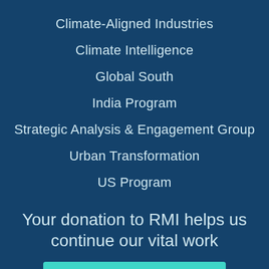Climate-Aligned Industries
Climate Intelligence
Global South
India Program
Strategic Analysis & Engagement Group
Urban Transformation
US Program
Your donation to RMI helps us continue our vital work
Donate